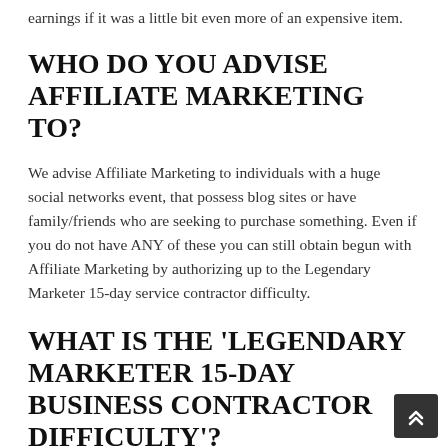earnings if it was a little bit even more of an expensive item.
WHO DO YOU ADVISE AFFILIATE MARKETING TO?
We advise Affiliate Marketing to individuals with a huge social networks event, that possess blog sites or have family/friends who are seeking to purchase something. Even if you do not have ANY of these you can still obtain begun with Affiliate Marketing by authorizing up to the Legendary Marketer 15-day service contractor difficulty.
WHAT IS THE 'LEGENDARY MARKETER 15-DAY BUSINESS CONTRACTOR DIFFICULTY'?
The Legendary Marketer 15-day business contractor